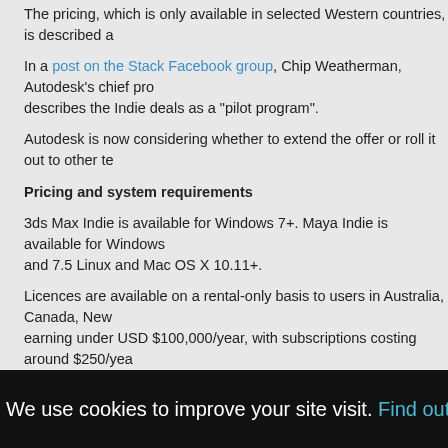The pricing, which is only available in selected Western countries, is described a
In a post on the Stack Facebook group, Chip Weatherman, Autodesk's chief pro describes the Indie deals as a "pilot program".
Autodesk is now considering whether to extend the offer or roll it out to other te
Pricing and system requirements
3ds Max Indie is available for Windows 7+. Maya Indie is available for Windows and 7.5 Linux and Mac OS X 10.11+.
Licences are available on a rental-only basis to users in Australia, Canada, New earning under USD $100,000/year, with subscriptions costing around $250/yea
The exact figure varies from country to country: in the UK, it's currently just over
As with all Autodesk products, subscriptions renew automatically by default: in and Maya subscription pricing of $1,545/year.
In the small print on each offer page, Autodesk advises anyone who doesn't wa after a year to cancel subscription renewal immediately after subscribing.
We use cookies to improve your site visit. Find out m